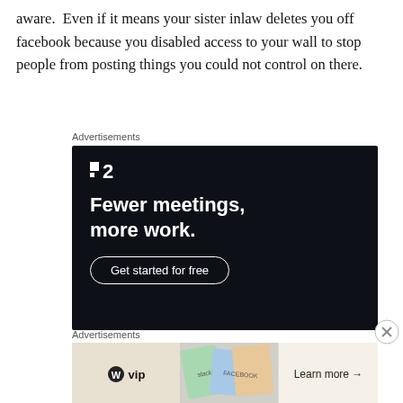aware.  Even if it means your sister inlaw deletes you off facebook because you disabled access to your wall to stop people from posting things you could not control on there.
Advertisements
[Figure (screenshot): Dark advertisement banner for a project management tool showing a logo with two squares and '2', headline 'Fewer meetings, more work.' and a 'Get started for free' button on a dark navy background.]
Advertisements
[Figure (screenshot): Advertisement banner showing WordPress VIP logo on left, colorful cards in the middle, and a 'Learn more →' button on the right.]